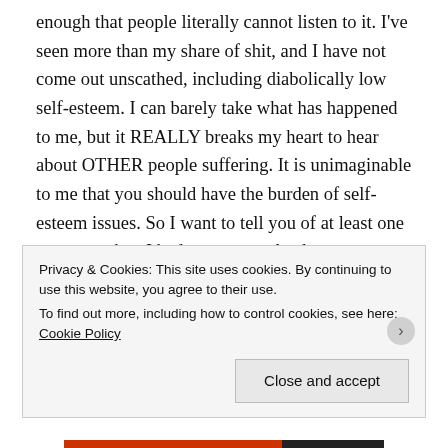enough that people literally cannot listen to it. I've seen more than my share of shit, and I have not come out unscathed, including diabolically low self-esteem. I can barely take what has happened to me, but it REALLY breaks my heart to hear about OTHER people suffering. It is unimaginable to me that you should have the burden of self-esteem issues. So I want to tell you of at least one moment when I had to get completely over myself. I am one of seven subjects in a documentary called Dialogues With Madwomen. It premiered to a sold-out Castro Theater audience in 1993, was bought by PBS for
Privacy & Cookies: This site uses cookies. By continuing to use this website, you agree to their use.
To find out more, including how to control cookies, see here: Cookie Policy